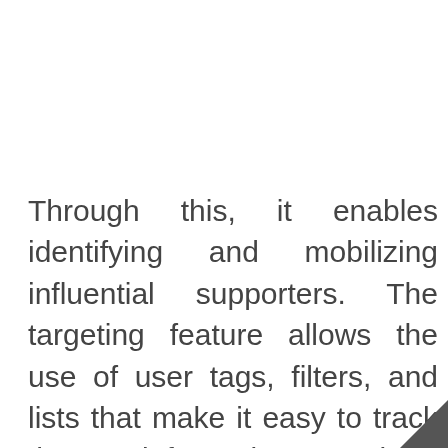Through this, it enables identifying and mobilizing influential supporters. The targeting feature allows the use of user tags, filters, and lists that make it easy to track the information about supporters and allow sending of personalized communications crafted just for them. The built-in action pages enable creating